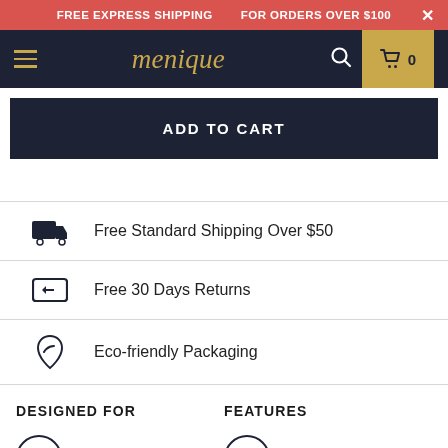FREE EXPRESS SHIPPING   FOR ORDERS OVER $100
[Figure (screenshot): Menique e-commerce website navigation bar with hamburger menu, logo, search icon, and cart button showing 0 items]
ADD TO CART
Free Standard Shipping Over $50
Free 30 Days Returns
Eco-friendly Packaging
DESIGNED FOR
FEATURES
Stylish Factor
Cute Design